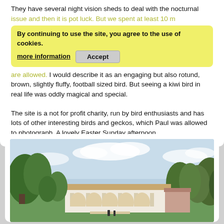They have several night vision sheds to deal with the nocturnal issue and then it is pot luck. But we spent at least 10 minutes watching a real kiwi. Unfortunately no photos are allowed. I would describe it as an engaging but also rotund, brown, slightly fluffy, football sized bird. But seeing a kiwi bird in real life was oddly magical and special.
By continuing to use the site, you agree to the use of cookies. more information | Accept
The site is a not for profit charity, run by bird enthusiasts and has lots of other interesting birds and geckos, which Paul was allowed to photograph. A lovely Easter Sunday afternoon.
[Figure (photo): Photo of a white Mediterranean-style villa or manor house with arched colonnade, surrounded by lush green trees and foliage, under a partly cloudy sky.]